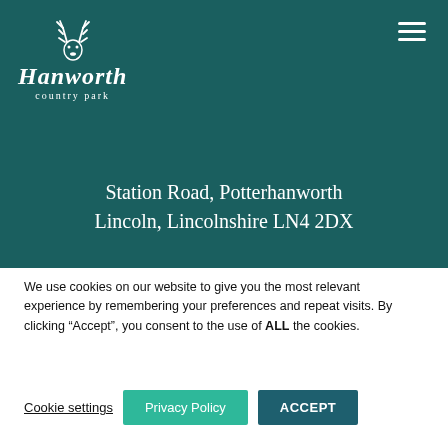[Figure (logo): Hanworth Country Park logo with stag/deer antler icon above the text 'Hanworth country park' in white on dark teal background]
Station Road, Potterhanworth
Lincoln, Lincolnshire LN4 2DX
We use cookies on our website to give you the most relevant experience by remembering your preferences and repeat visits. By clicking “Accept”, you consent to the use of ALL the cookies.
Cookie settings | Privacy Policy | ACCEPT